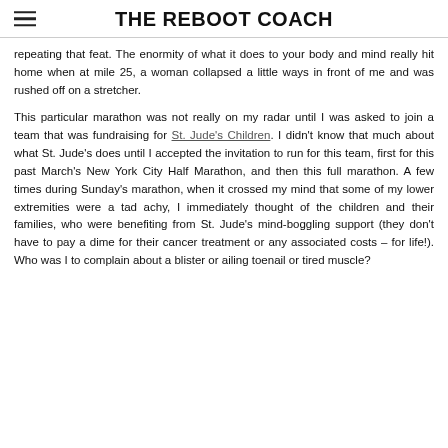THE REBOOT COACH
repeating that feat.  The enormity of what it does to your body and mind really hit home when at mile 25, a woman collapsed a little ways in front of me and was rushed off on a stretcher.
This particular marathon was not really on my radar until I was asked to join a team that was fundraising for St. Jude's Children.  I didn't know that much about what St. Jude's does until I accepted the invitation to run for this team, first for this past March's New York City Half Marathon, and then this full marathon.  A few times during Sunday's marathon, when it crossed my mind that some of my lower extremities were a tad achy, I immediately thought of the children and their families, who were benefiting from St. Jude's mind-boggling support (they don't have to pay a dime for their cancer treatment or any associated costs – for life!).  Who was I to complain about a blister or ailing toenail or tired muscle?